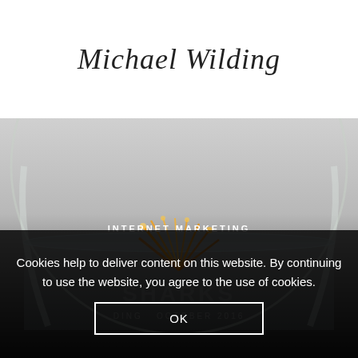Michael Wilding
[Figure (photo): A goldfish bowl with a goldfish visible inside, glass bowl with water, dimly lit background, with 'INTERNET MARKETING' text overlay]
INTERNET MARKETING
Cookies help to deliver content on this website. By continuing to use the website, you agree to the use of cookies.
OK